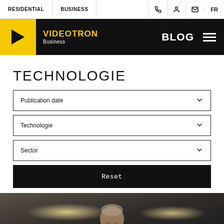RESIDENTIAL | BUSINESS | FR
[Figure (logo): Videotron Business logo on black bar with yellow arrow, BLOG label and hamburger menu on right]
TECHNOLOGIE
Publication date
Technologie
Sector
Reset
[Figure (photo): Older man with grey beard and glasses smiling, in dark interior setting with bokeh lights]